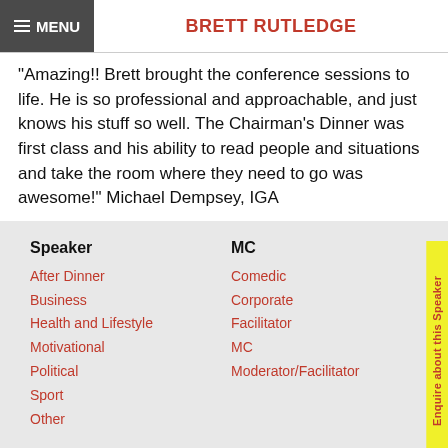≡ MENU  BRETT RUTLEDGE
"Amazing!! Brett brought the conference sessions to life. He is so professional and approachable, and just knows his stuff so well. The Chairman's Dinner was first class and his ability to read people and situations and take the room where they need to go was awesome!" Michael Dempsey, IGA
Speaker
After Dinner
Business
Health and Lifestyle
Motivational
Political
Sport
Other
MC
Comedic
Corporate
Facilitator
MC
Moderator/Facilitator
Entertainer
Comedian
Dance
Talent
Appearances
Brand Ambassadors